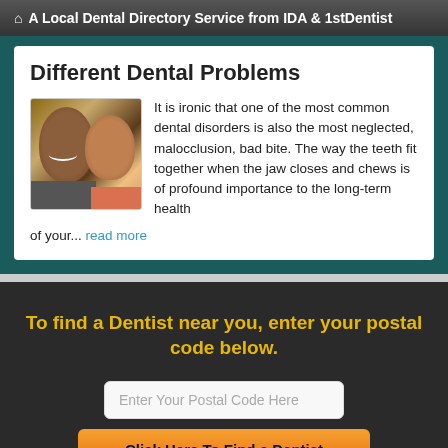A Local Dental Directory Service from IDA & 1stDentist
Different Dental Problems
[Figure (photo): Photo of a smiling man and young girl]
It is ironic that one of the most common dental disorders is also the most neglected, malocclusion, bad bite. The way the teeth fit together when the jaw closes and chews is of profound importance to the long-term health of your... read more
To find a Dentist near you, enter your postal code below.
Enter Your Postal Code Here
Click Here To Find a Dentist